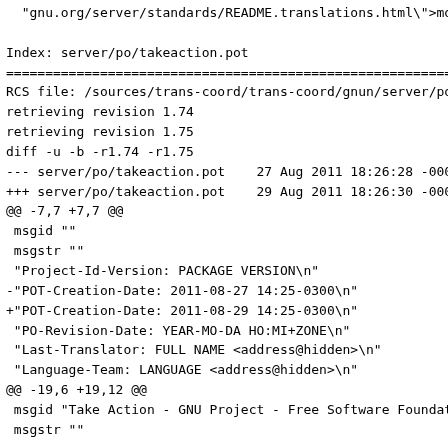"gnu.org/server/standards/README.translations.html\">mo

Index: server/po/takeaction.pot
================================================================
RCS file: /sources/trans-coord/trans-coord/gnun/server/po
retrieving revision 1.74
retrieving revision 1.75
diff -u -b -r1.74 -r1.75
--- server/po/takeaction.pot    27 Aug 2011 18:26:28 -000
+++ server/po/takeaction.pot    29 Aug 2011 18:26:30 -000
@@ -7,7 +7,7 @@
 msgid ""
 msgstr ""
 "Project-Id-Version: PACKAGE VERSION\n"
-"POT-Creation-Date: 2011-08-27 14:25-0300\n"
+"POT-Creation-Date: 2011-08-29 14:25-0300\n"
 "PO-Revision-Date: YEAR-MO-DA HO:MI+ZONE\n"
 "Last-Translator: FULL NAME <address@hidden>\n"
 "Language-Team: LANGUAGE <address@hidden>\n"
@@ -19,6 +19,12 @@
 msgid "Take Action - GNU Project - Free Software Foundat
 msgstr ""

+#. type: Content of: <style>
+msgid ""
+"#content h4 + p { padding-left: 2em; margin-bottom: 0.5
+"font-size: 1.1em !important; padding-left: 1em; }"
+msgstr ""
+
 #. type: Content of: <h2>